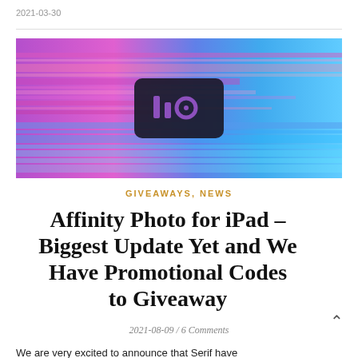2021-03-30
[Figure (photo): Colorful horizontal streaked light banner image with a dark rounded rectangle logo in the center containing the text 'i.io' styled with vertical bar and circle icons, set against a vivid purple, pink, and blue gradient motion background.]
GIVEAWAYS, NEWS
Affinity Photo for iPad – Biggest Update Yet and We Have Promotional Codes to Giveaway
2021-08-09 / 6 Comments
We are very excited to announce that Serif have